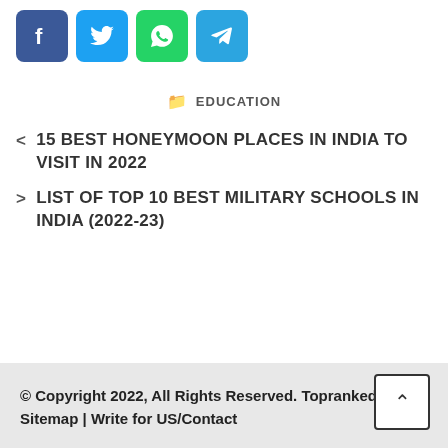[Figure (other): Social media share icons: Facebook (blue), Twitter (blue), WhatsApp (green), Telegram (blue)]
EDUCATION
< 15 BEST HONEYMOON PLACES IN INDIA TO VISIT IN 2022
> LIST OF TOP 10 BEST MILITARY SCHOOLS IN INDIA (2022-23)
© Copyright 2022, All Rights Reserved. Topranked.in | Sitemap | Write for US/Contact